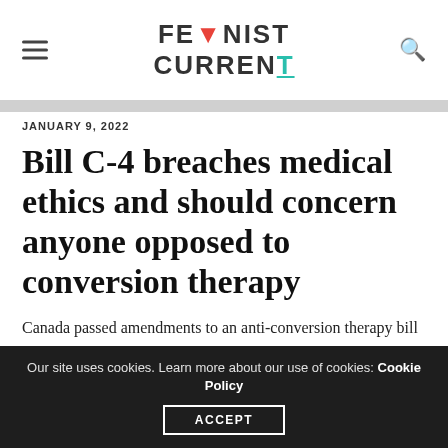FEMINIST CURRENT
JANUARY 9, 2022
Bill C-4 breaches medical ethics and should concern anyone opposed to conversion therapy
Canada passed amendments to an anti-conversion therapy bill
Our site uses cookies. Learn more about our use of cookies: Cookie Policy  ACCEPT